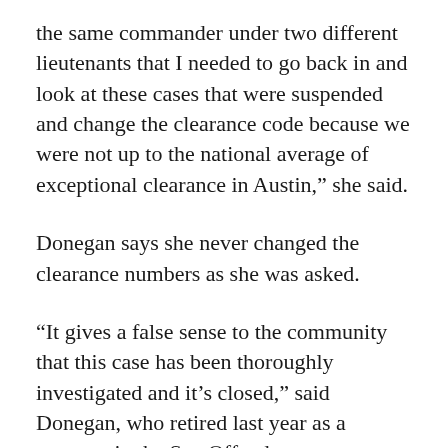the same commander under two different lieutenants that I needed to go back in and look at these cases that were suspended and change the clearance code because we were not up to the national average of exceptional clearance in Austin,” she said.
Donegan says she never changed the clearance numbers as she was asked.
“It gives a false sense to the community that this case has been thoroughly investigated and it’s closed,” said Donegan, who retired last year as a sergeant in the Sex Offender Apprehension and Registration Unit. “It’s not truthful.”